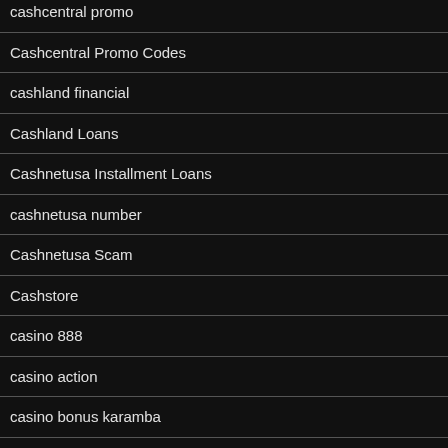cashcentral promo
Cashcentral Promo Codes
cashland financial
Cashland Loans
Cashnetusa Installment Loans
cashnetusa number
Cashnetusa Scam
Cashstore
casino 888
casino action
casino bonus karamba
casino bonuses
casino mate nz